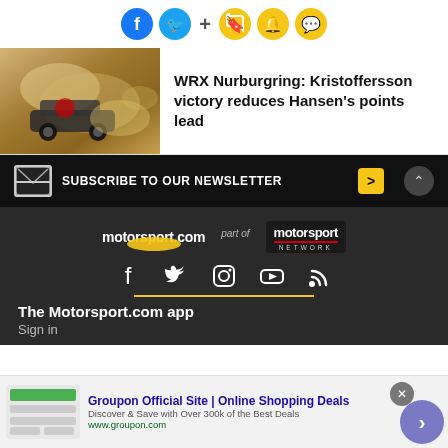[Figure (screenshot): Social sharing icons row: Facebook (blue circle), Twitter (blue circle), plus sign, bookmark (yellow), bell (yellow), speech bubble (yellow)]
[Figure (photo): Rally car racing through dusty track, motorsport action photo]
WRX Nurburgring: Kristoffersson victory reduces Hansen's points lead
[Figure (infographic): Subscribe to our newsletter banner with envelope icon and yellow arrow button]
[Figure (logo): Motorsport.com logo, part of Motorsport Network logo]
[Figure (infographic): Social media icons: Facebook, Twitter, Instagram, YouTube, RSS feed on dark footer]
The Motorsport.com app
Sign in
[Figure (screenshot): Groupon advertisement banner: Groupon Official Site | Online Shopping Deals - Discover & Save with Over 300k of the Best Deals - www.groupon.com]